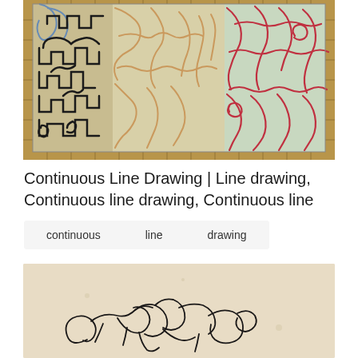[Figure (illustration): A photograph of a continuous line drawing artwork on paper placed on a gridded cutting mat. The drawing shows maze-like continuous line patterns in multiple colors: black on the left side, tan/beige in the center, and red/pink on the right side. A partial blue shape is visible in the top-left corner.]
Continuous Line Drawing | Line drawing, Continuous line drawing, Continuous line
continuous
line
drawing
[Figure (illustration): A photograph of a continuous line drawing on aged/cream-colored paper showing what appears to be a simple figure or animal outline drawn in a single continuous black line, with loop-like circular forms at the ends.]